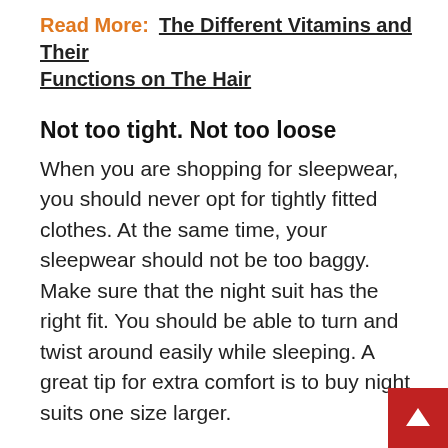Read More:  The Different Vitamins and Their Functions on The Hair
Not too tight. Not too loose
When you are shopping for sleepwear, you should never opt for tightly fitted clothes. At the same time, your sleepwear should not be too baggy. Make sure that the night suit has the right fit. You should be able to turn and twist around easily while sleeping. A great tip for extra comfort is to buy night suits one size larger.
Avoid outfits with detailing.
Your sleepwear should be the most relaxing outfit. Therefore, avoid night suits that have a lot of details, such as laces, zips, buttons, and other